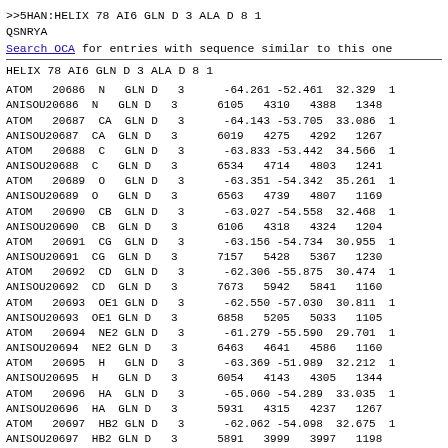>>5HAN:HELIX    78 AI6 GLN D     3  ALA D     8 1
QSNRYA
Search OCA for entries with sequence similar to this one
HELIX    78 AI6 GLN D     3   ALA D     8  1
| ATOM   20686 | N   | GLN D | 3 | -64.261 -52.461  32.329 | 1 |
| ANISOU20686 | N   | GLN D | 3 | 6105   4310   4388   1348 |
| ATOM   20687 | CA  | GLN D | 3 | -64.143 -53.705  33.086 | 1 |
| ANISOU20687 | CA  | GLN D | 3 | 6019   4275   4292   1267 |
| ATOM   20688 | C   | GLN D | 3 | -63.833 -53.442  34.566 | 1 |
| ANISOU20688 | C   | GLN D | 3 | 6534   4714   4803   1241 |
| ATOM   20689 | O   | GLN D | 3 | -63.351 -54.342  35.261 | 1 |
| ANISOU20689 | O   | GLN D | 3 | 6563   4739   4807   1169 |
| ATOM   20690 | CB  | GLN D | 3 | -63.027 -54.558  32.468 | 1 |
| ANISOU20690 | CB  | GLN D | 3 | 6106   4318   4324   1204 |
| ATOM   20691 | CG  | GLN D | 3 | -63.156 -54.734  30.955 | 1 |
| ANISOU20691 | CG  | GLN D | 3 | 7157   5428   5367   1230 |
| ATOM   20692 | CD  | GLN D | 3 | -62.306 -55.875  30.474 | 1 |
| ANISOU20692 | CD  | GLN D | 3 | 7673   5942   5841   1160 |
| ATOM   20693 | OE1 | GLN D | 3 | -62.550 -57.030  30.811 | 1 |
| ANISOU20693 | OE1 | GLN D | 3 | 6858   5205   5033   1105 |
| ATOM   20694 | NE2 | GLN D | 3 | -61.279 -55.590  29.701 | 1 |
| ANISOU20694 | NE2 | GLN D | 3 | 6463   4641   4586   1160 |
| ATOM   20695 | H   | GLN D | 3 | -63.369 -51.989  32.212 | 1 |
| ANISOU20695 | H   | GLN D | 3 | 6054   4143   4305   1344 |
| ATOM   20696 | HA  | GLN D | 3 | -65.060 -54.289  33.035 | 1 |
| ANISOU20696 | HA  | GLN D | 3 | 5931   4315   4237   1267 |
| ATOM   20697 | HB2 | GLN D | 3 | -62.062 -54.098  32.675 | 1 |
| ANISOU20697 | HB2 | GLN D | 3 | 5891   3999   3997   1198 |